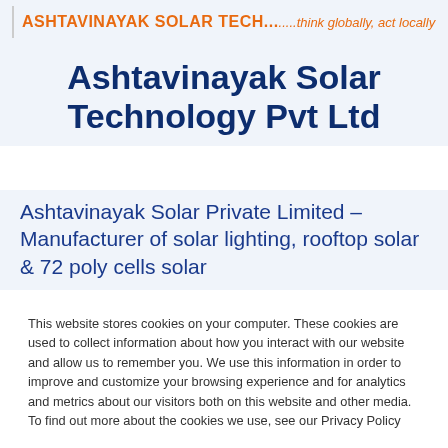Ashtavinayak Solar Technology Pvt Ltd — .....think globally, act locally
Ashtavinayak Solar Technology Pvt Ltd
Ashtavinayak Solar Private Limited – Manufacturer of solar lighting, rooftop solar & 72 poly cells solar
This website stores cookies on your computer. These cookies are used to collect information about how you interact with our website and allow us to remember you. We use this information in order to improve and customize your browsing experience and for analytics and metrics about our visitors both on this website and other media. To find out more about the cookies we use, see our Privacy Policy
If you decline, your information won't be tracked when you visit this website. A single cookie will be used in your browser to remember your preference not to be tracked.